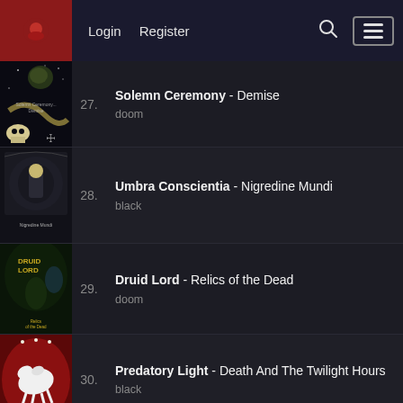Login  Register
27. Solemn Ceremony - Demise | doom
28. Umbra Conscientia - Nigredine Mundi | black
29. Druid Lord - Relics of the Dead | doom
30. Predatory Light - Death And The Twilight Hours | black